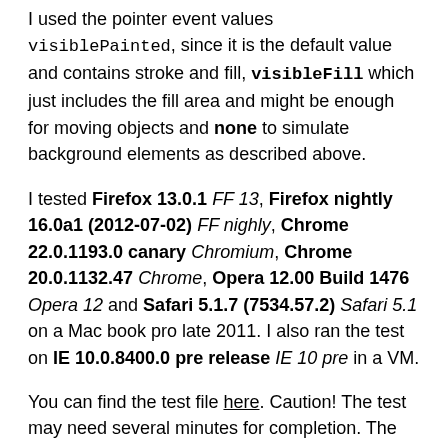I used the pointer event values visiblePainted, since it is the default value and contains stroke and fill, visibleFill which just includes the fill area and might be enough for moving objects and none to simulate background elements as described above.
I tested Firefox 13.0.1 FF 13, Firefox nightly 16.0a1 (2012-07-02) FF nighly, Chrome 22.0.1193.0 canary Chromium, Chrome 20.0.1132.47 Chrome, Opera 12.00 Build 1476 Opera 12 and Safari 5.1.7 (7534.57.2) Safari 5.1 on a Mac book pro late 2011. I also ran the test on IE 10.0.8400.0 pre release IE 10 pre in a VM.
You can find the test file here. Caution! The test may need several minutes for completion. The example below is a reduced version of the test. Move the mouse over the 300 path elements in the